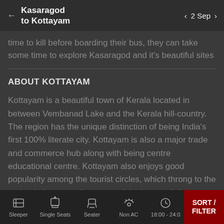Kasaragod to Kottayam | 2 Sep
time to kill before boarding their bus, they can take some time to explore Kasaragod and it's beautiful sites
ABOUT KOTTAYAM
Kottayam is a beautiful town of Kerala located in between Vembanad Lake and the Kerala hill-country. The region has the unique distinction of being India's first 100% literate city. Kottayam is also a major trade and commerce hub along with being centre educational centre. Kottayam also enjoys good popularity among the tourist circles, which throng to the region in large numbers to soak in the scenic beauty and enjoy a peaceful vacation. There are quite a few interesting tourist attractions for the entertainment of travelers. Few of the
Sleeper | Single Seats | Seater | Non AC | 18:00 - 24:00 | SORT / FILTER